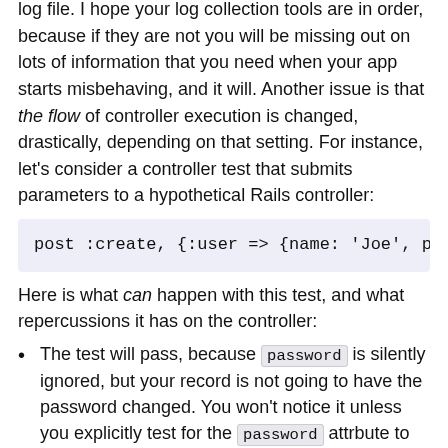log file. I hope your log collection tools are in order, because if they are not you will be missing out on lots of information that you need when your app starts misbehaving, and it will. Another issue is that the flow of controller execution is changed, drastically, depending on that setting. For instance, let's consider a controller test that submits parameters to a hypothetical Rails controller:
post :create, {:user => {name: 'Joe', passwor
Here is what can happen with this test, and what repercussions it has on the controller:
The test will pass, because password is silently ignored, but your record is not going to have the password changed. You won't notice it unless you explicitly test for the password attrbute to have been changed in the test.
The test will raise, because password creates an exception, and you won't even get to your model